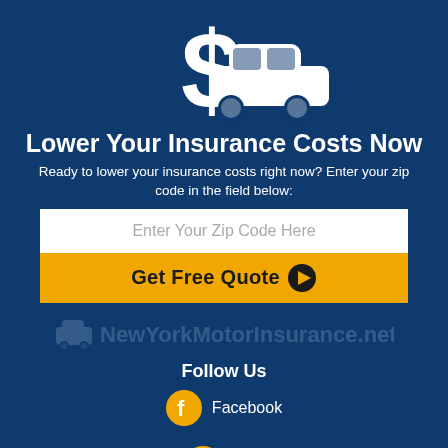[Figure (illustration): Dollar sign and car icon in white on dark blue background]
Lower Your Insurance Costs Now
Ready to lower your insurance costs right now? Enter your zip code in the field below:
[Figure (screenshot): White input field with placeholder text 'Enter Your Zip Code Here' and orange 'Get Free Quote' button below]
[Figure (logo): NewYorkMotorInsurance.net watermark logo with car icon]
Follow Us
Facebook
Twitter